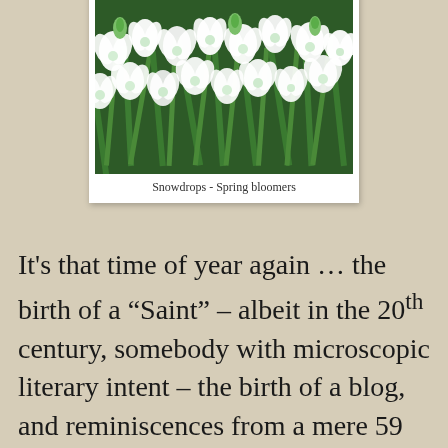[Figure (photo): Photograph of white snowdrop flowers with green stems and leaves, densely clustered together in a garden setting.]
Snowdrops - Spring bloomers
It's that time of year again … the birth of a “Saint” – albeit in the 20th century, somebody with microscopic literary intent – the birth of a blog, and reminiscences from a mere 59 years ago …